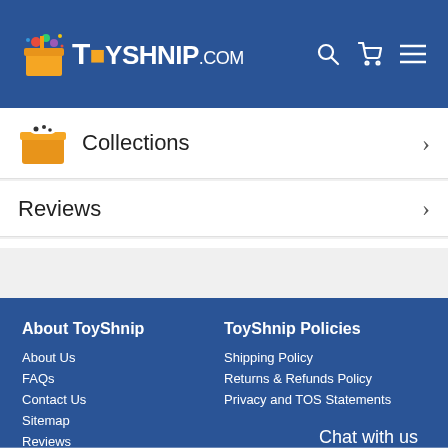TOYSHNIP.com
Collections
Reviews
Collections by Manufacturer
About ToyShnip
About Us
FAQs
Contact Us
Sitemap
Reviews
ToyShnip Policies
Shipping Policy
Returns & Refunds Policy
Privacy and TOS Statements
Chat with us